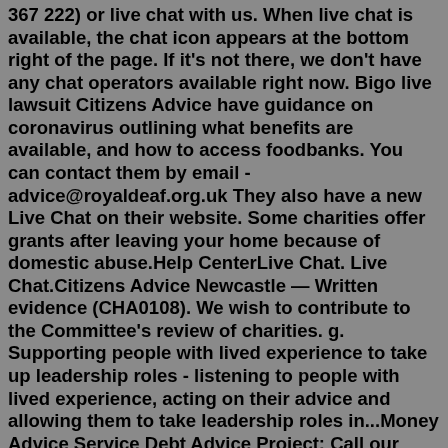367 222) or live chat with us. When live chat is available, the chat icon appears at the bottom right of the page. If it's not there, we don't have any chat operators available right now. Bigo live lawsuit Citizens Advice have guidance on coronavirus outlining what benefits are available, and how to access foodbanks. You can contact them by email - advice@royaldeaf.org.uk They also have a new Live Chat on their website. Some charities offer grants after leaving your home because of domestic abuse.Help CenterLive Chat. Live Chat.Citizens Advice Newcastle — Written evidence (CHA0108). We wish to contribute to the Committee's review of charities. g. Supporting people with lived experience to take up leadership roles - listening to people with lived experience, acting on their advice and allowing them to take leadership roles in...Money Advice Service Debt Advice Project: Call our Advice Service on 08082 78 78 15 who can arrange an appointment with this project. Pension Wise: 0800 138 3944 Advice